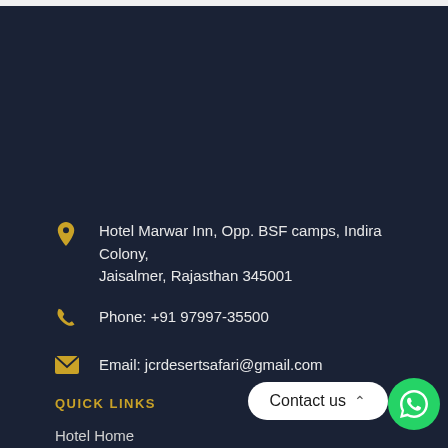Hotel Marwar Inn, Opp. BSF camps, Indira Colony, Jaisalmer, Rajasthan 345001
Phone: +91 97997-35500
Email: jcrdesertsafari@gmail.com
QUICK LINKS
Hotel Home
About Us
Contact us